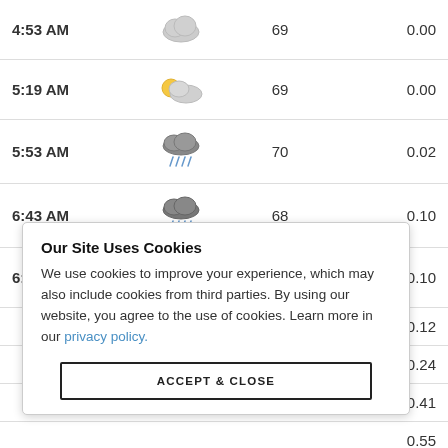| Time | Condition | Humidity | Precip |
| --- | --- | --- | --- |
| 4:53 AM | [cloud icon] | 69 | 0.00 |
| 5:19 AM | [partly cloudy icon] | 69 | 0.00 |
| 5:53 AM | [rain icon] | 70 | 0.02 |
| 6:43 AM | [rain icon] | 68 | 0.10 |
| 6:53 AM | [cloud icon] | 68 | 0.10 |
| [obscured] |  |  | 0.12 |
| [obscured] |  |  | 0.24 |
| [obscured] |  |  | 0.41 |
| [obscured] |  |  | 0.55 |
Our Site Uses Cookies
We use cookies to improve your experience, which may also include cookies from third parties. By using our website, you agree to the use of cookies. Learn more in our privacy policy.
ACCEPT & CLOSE